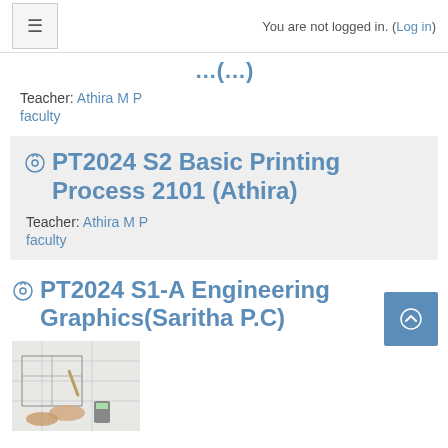You are not logged in. (Log in)
Teacher: Athira M P
faculty
PT2024 S2 Basic Printing Process 2101 (Athira)
Teacher: Athira M P
faculty
PT2024 S1-A Engineering Graphics(Saritha P.C)
[Figure (photo): Person drawing on engineering/architectural blueprints with hands visible and drafting tools on a white table]